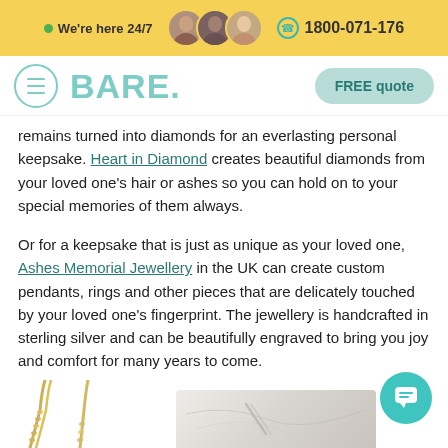We're here 24/7   1800-071-176
BARE. FREE quote
remains turned into diamonds for an everlasting personal keepsake. Heart in Diamond creates beautiful diamonds from your loved one's hair or ashes so you can hold on to your special memories of them always.
Or for a keepsake that is just as unique as your loved one, Ashes Memorial Jewellery in the UK can create custom pendants, rings and other pieces that are delicately touched by your loved one's fingerprint. The jewellery is handcrafted in sterling silver and can be beautifully engraved to bring you joy and comfort for many years to come.
[Figure (photo): Bottom image strip showing gold jewelry chains on the left and a marble-background jewelry photo on the right.]